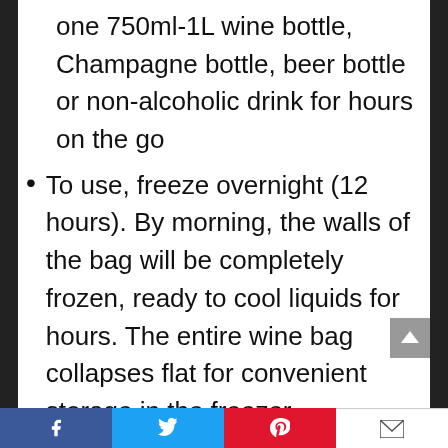one 750ml-1L wine bottle, Champagne bottle, beer bottle or non-alcoholic drink for hours on the go
To use, freeze overnight (12 hours). By morning, the walls of the bag will be completely frozen, ready to cool liquids for hours. The entire wine bag collapses flat for convenient storage in the freezer
Roll-top and buckle design and carry strap system secure bottle in bag and lock in cool air. The unique strap design allows you to carry bottle